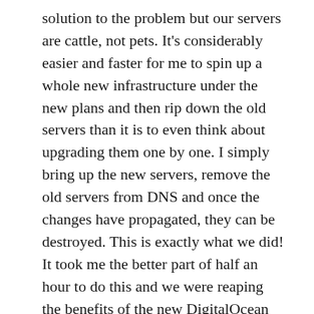solution to the problem but our servers are cattle, not pets. It's considerably easier and faster for me to spin up a whole new infrastructure under the new plans and then rip down the old servers than it is to even think about upgrading them one by one. I simply bring up the new servers, remove the old servers from DNS and once the changes have propagated, they can be destroyed. This is exactly what we did! It took me the better part of half an hour to do this and we were reaping the benefits of the new DigitalOcean pricing plans. This isn't the first time we've made significant changes with no impact to service either, we recently updated our whole fleet from PHP 7.0 to PHP 7.2 without a single hiccup!